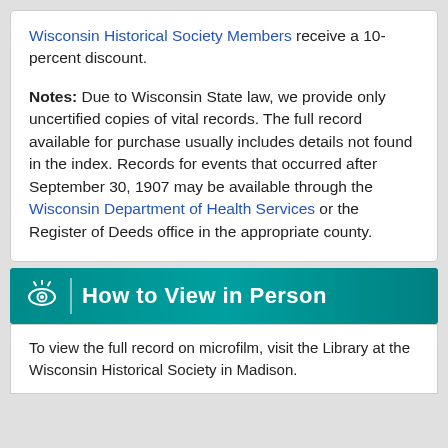Wisconsin Historical Society Members receive a 10-percent discount.
Notes: Due to Wisconsin State law, we provide only uncertified copies of vital records. The full record available for purchase usually includes details not found in the index. Records for events that occurred after September 30, 1907 may be available through the Wisconsin Department of Health Services or the Register of Deeds office in the appropriate county.
How to View in Person
To view the full record on microfilm, visit the Library at the Wisconsin Historical Society in Madison.